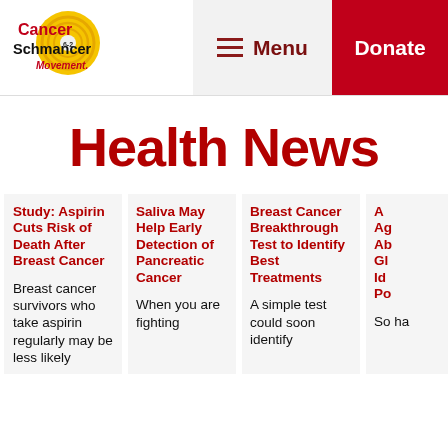[Figure (logo): Cancer Schmancer Movement logo with yellow circular graphic and red/black text]
Menu
Donate
Health News
Study: Aspirin Cuts Risk of Death After Breast Cancer — Breast cancer survivors who take aspirin regularly may be less likely
Saliva May Help Early Detection of Pancreatic Cancer — When you are fighting
Breast Cancer Breakthrough Test to Identify Best Treatments — A simple test could soon identify
A... Ag... Ab... Gl... Id... Po... — So... ha...